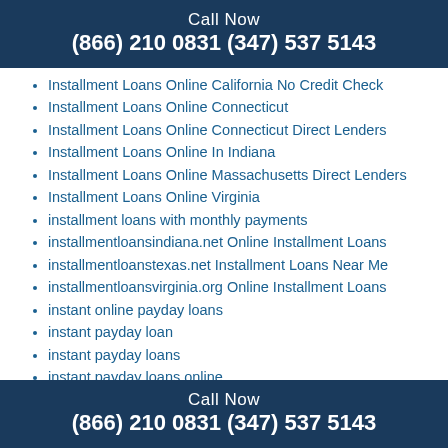Call Now
(866) 210 0831 (347) 537 5143
Installment Loans Online California No Credit Check
Installment Loans Online Connecticut
Installment Loans Online Connecticut Direct Lenders
Installment Loans Online In Indiana
Installment Loans Online Massachusetts Direct Lenders
Installment Loans Online Virginia
installment loans with monthly payments
installmentloansindiana.net Online Installment Loans
installmentloanstexas.net Installment Loans Near Me
installmentloansvirginia.org Online Installment Loans
instant online payday loans
instant payday loan
instant payday loans
instant payday loans online
international brides
international dating
Call Now
(866) 210 0831 (347) 537 5143